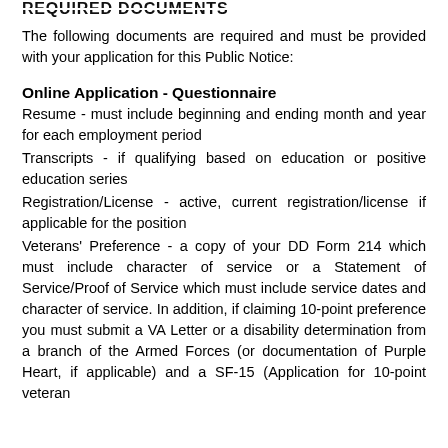REQUIRED DOCUMENTS
The following documents are required and must be provided with your application for this Public Notice:
Online Application - Questionnaire
Resume - must include beginning and ending month and year for each employment period
Transcripts - if qualifying based on education or positive education series
Registration/License - active, current registration/license if applicable for the position
Veterans' Preference - a copy of your DD Form 214 which must include character of service or a Statement of Service/Proof of Service which must include service dates and character of service. In addition, if claiming 10-point preference you must submit a VA Letter or a disability determination from a branch of the Armed Forces (or documentation of Purple Heart, if applicable) and a SF-15 (Application for 10-point veteran...